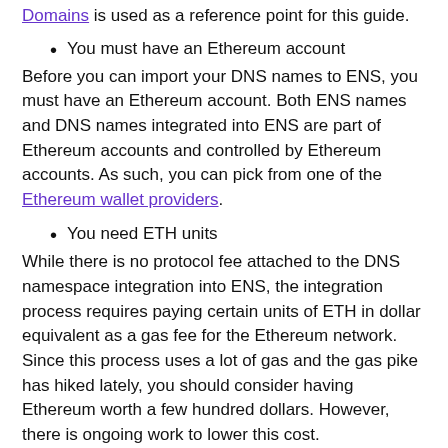Domains is used as a reference point for this guide.
You must have an Ethereum account
Before you can import your DNS names to ENS, you must have an Ethereum account. Both ENS names and DNS names integrated into ENS are part of Ethereum accounts and controlled by Ethereum accounts. As such, you can pick from one of the Ethereum wallet providers.
You need ETH units
While there is no protocol fee attached to the DNS namespace integration into ENS, the integration process requires paying certain units of ETH in dollar equivalent as a gas fee for the Ethereum network. Since this process uses a lot of gas and the gas pike has hiked lately, you should consider having Ethereum worth a few hundred dollars. However, there is ongoing work to lower this cost.
Now, let's examine the steps involved in integrating the DNS domain name to ENS.